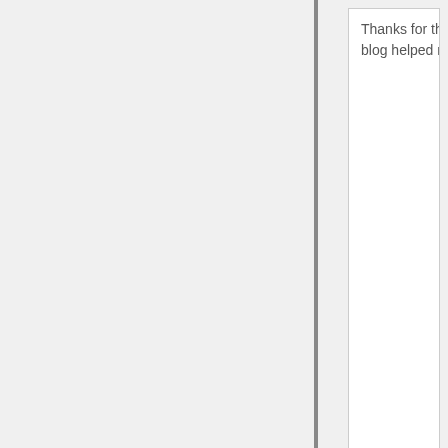Thanks for the blog loaded with so many information. Stopping by your blog helped me to get what I was looking